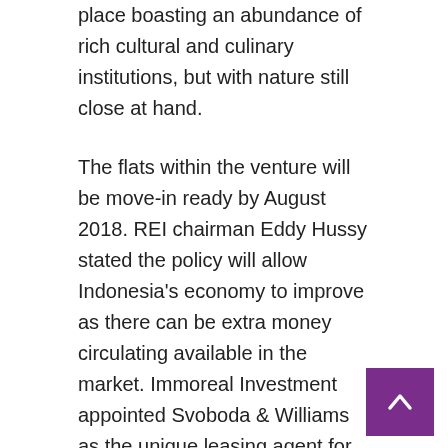place boasting an abundance of rich cultural and culinary institutions, but with nature still close at hand.
The flats within the venture will be move-in ready by August 2018. REI chairman Eddy Hussy stated the policy will allow Indonesia's economy to improve as there can be extra money circulating available in the market. Immoreal Investment appointed Svoboda & Williams as the unique leasing agent for office and retail space in the Za Poříčskou bránou 6 & eight constructing.
If you don't change your settings, we'll assume you're completely happy to receive cookies on the TH Actual Estate site. By no means mind that Singapore is experiencing one of many worst property slumps in its historical past, demand for